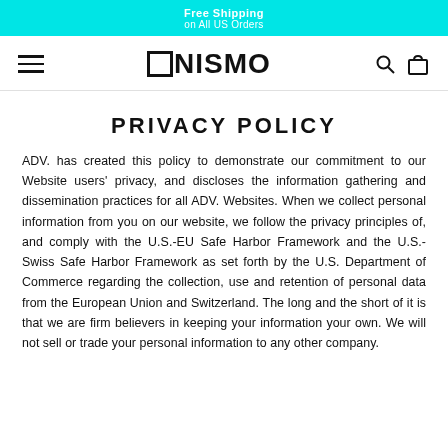Free Shipping
on All US Orders
[Figure (logo): ONISMO brand logo with navigation bar including hamburger menu, search icon, and cart icon]
PRIVACY POLICY
ADV. has created this policy to demonstrate our commitment to our Website users' privacy, and discloses the information gathering and dissemination practices for all ADV. Websites. When we collect personal information from you on our website, we follow the privacy principles of, and comply with the U.S.-EU Safe Harbor Framework and the U.S.-Swiss Safe Harbor Framework as set forth by the U.S. Department of Commerce regarding the collection, use and retention of personal data from the European Union and Switzerland. The long and the short of it is that we are firm believers in keeping your information your own. We will not sell or trade your personal information to any other company.